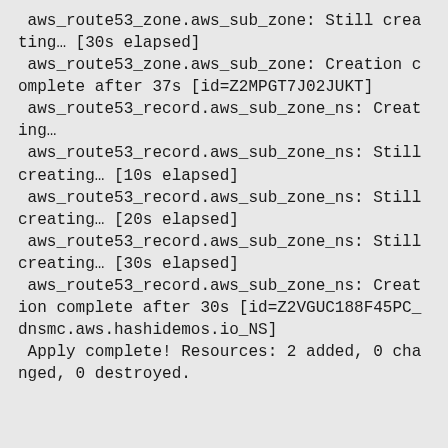aws_route53_zone.aws_sub_zone: Still creating… [30s elapsed]
 aws_route53_zone.aws_sub_zone: Creation complete after 37s [id=Z2MPGT7J02JUKT]
 aws_route53_record.aws_sub_zone_ns: Creating…
 aws_route53_record.aws_sub_zone_ns: Still creating… [10s elapsed]
 aws_route53_record.aws_sub_zone_ns: Still creating… [20s elapsed]
 aws_route53_record.aws_sub_zone_ns: Still creating… [30s elapsed]
 aws_route53_record.aws_sub_zone_ns: Creation complete after 30s [id=Z2VGUC188F45PC_dnsmc.aws.hashidemos.io_NS]
 Apply complete! Resources: 2 added, 0 changed, 0 destroyed.